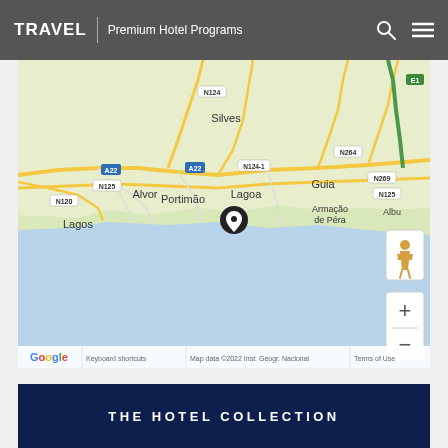TRAVEL | Premium Hotel Programs
[Figure (map): Google Maps view of the Algarve coast in Portugal, showing Portimão, Lagoa, Silves, Lagos, Alvor, Armação de Pera, Guia and Albufeira area. A black location pin marker is placed near Carvoeiro/Lagoa area. Road labels include N124, A22, N124-1, N125, N264, N269, N125, N120, E1. Map includes Street View person icon and zoom +/- controls. Bottom shows Google logo, Keyboard shortcuts, Map data ©2022 Inst. Geogr. Nacional, Terms of Use.]
THE HOTEL COLLECTION